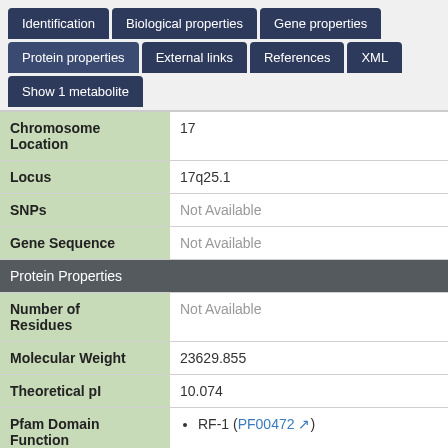[Figure (screenshot): Navigation tabs for a biological database entry: Identification, Biological properties, Gene properties, Protein properties, External links, References, XML, Show 1 metabolite]
| Property | Value |
| --- | --- |
| Chromosome Location | 17 |
| Locus | 17q25.1 |
| SNPs | Not Available |
| Gene Sequence | Not Available |
| Protein Properties |  |
| Number of Residues | Not Available |
| Molecular Weight | 23629.855 |
| Theoretical pI | 10.074 |
| Pfam Domain Function | RF-1 (PF00472) |